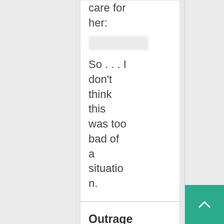care for her:
[Figure (other): Blurred/redacted text image]
So . . . I don't think this was too bad of a situation.
Outraged
April 20, 2016 · 9:28 am